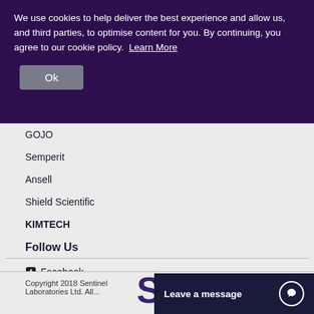We use cookies to help deliver the best experience and allow us, and third parties, to optimise content for you. By continuing, you agree to our cookie policy. Learn More
Ok
GOJO
Semperit
Ansell
Shield Scientific
KIMTECH
Follow Us
Facebook
Twitter
LinkedIn
Copyright 2018 Sentinel Laboratories Ltd. All...
Leave a message